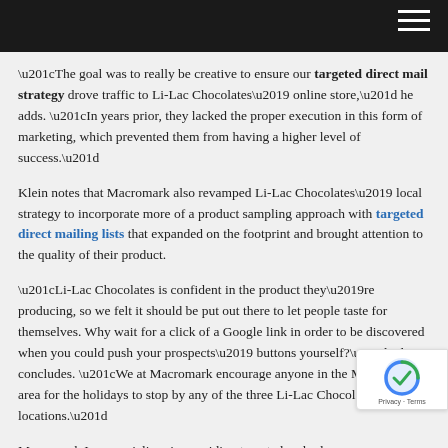“The goal was to really be creative to ensure our targeted direct mail strategy drove traffic to Li-Lac Chocolates’ online store,” he adds. “In years prior, they lacked the proper execution in this form of marketing, which prevented them from having a higher level of success.”
Klein notes that Macromark also revamped Li-Lac Chocolates’ local strategy to incorporate more of a product sampling approach with targeted direct mailing lists that expanded on the footprint and brought attention to the quality of their product.
“Li-Lac Chocolates is confident in the product they’re producing, so we felt it should be put out there to let people taste for themselves. Why wait for a click of a Google link in order to be discovered when you could push your prospects’ buttons yourself?” Klein concludes. “We at Macromark encourage anyone in the Manhattan area for the holidays to stop by any of the three Li-Lac Chocolates locations.”
Macromark Inc. specializes in providing targeted and relevant consumer and business lists used for prospecting, lead generation, and direct marketing sales. The company is one of